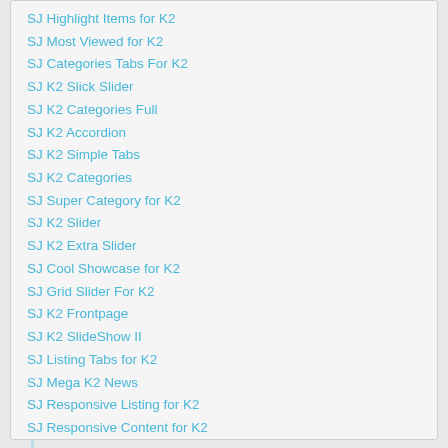SJ Highlight Items for K2
SJ Most Viewed for K2
SJ Categories Tabs For K2
SJ K2 Slick Slider
SJ K2 Categories Full
SJ K2 Accordion
SJ K2 Simple Tabs
SJ K2 Categories
SJ Super Category for K2
SJ K2 Slider
SJ K2 Extra Slider
SJ Cool Showcase for K2
SJ Grid Slider For K2
SJ K2 Frontpage
SJ K2 SlideShow II
SJ Listing Tabs for K2
SJ Mega K2 News
SJ Responsive Listing for K2
SJ Responsive Content for K2
Load more: Auto - Link Target: Popup window
Load more: Click - Link Target: New window
Load more: Auto - Link Target: Same window
SJ Categories II for K2